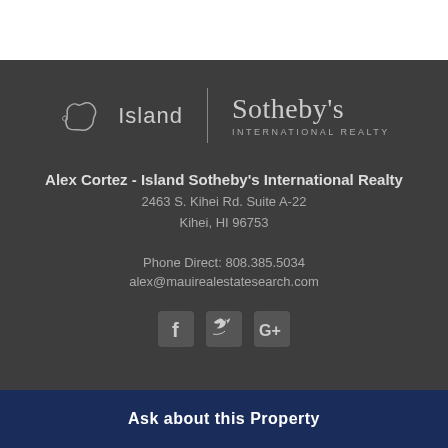[Figure (logo): Island Sotheby's International Realty logo with Hawaii island outline icon, 'Island' text, vertical divider, 'Sotheby's' in serif font, and 'INTERNATIONAL REALTY' subtitle]
Alex Cortez - Island Sotheby's International Realty
2463 S. Kihei Rd. Suite A-22
Kihei, HI 96753
Phone Direct: 808.385.5034
alex@mauirealestatesearch.com
[Figure (other): Social media icons: Facebook (f), Twitter (bird), Google Plus (G+)]
Ask about this Property